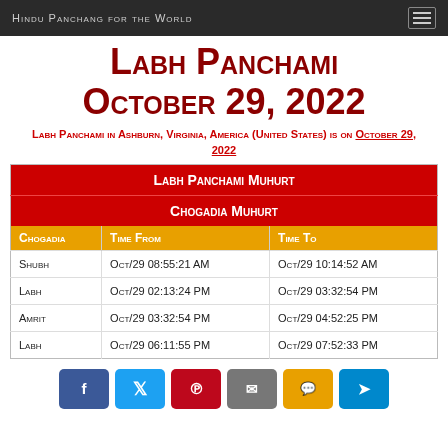Hindu Panchang for the World
Labh Panchami October 29, 2022
Labh Panchami in Ashburn, Virginia, America (United States) is on October 29, 2022
| Chogadia | Time From | Time To |
| --- | --- | --- |
| Shubh | Oct/29 08:55:21 AM | Oct/29 10:14:52 AM |
| Labh | Oct/29 02:13:24 PM | Oct/29 03:32:54 PM |
| Amrit | Oct/29 03:32:54 PM | Oct/29 04:52:25 PM |
| Labh | Oct/29 06:11:55 PM | Oct/29 07:52:33 PM |